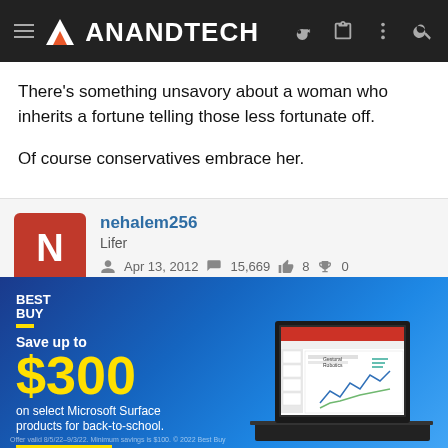AnandTech
There's something unsavory about a woman who inherits a fortune telling those less fortunate off.
Of course conservatives embrace her.
nehalem256
Lifer
Apr 13, 2012  15,669  8  0
Aug 31, 2012  #64
[Figure (infographic): Best Buy advertisement: Save up to $300 on select Microsoft Surface products for back-to-school. Shop Now button. Image of laptop showing PowerPoint presentation with 'Gestural Robotics' slide.]